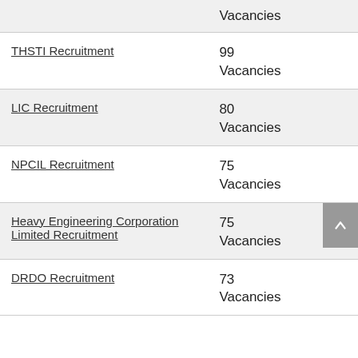| Recruitment | Vacancies |
| --- | --- |
|  | Vacancies |
| THSTI Recruitment | 99 Vacancies |
| LIC Recruitment | 80 Vacancies |
| NPCIL Recruitment | 75 Vacancies |
| Heavy Engineering Corporation Limited Recruitment | 75 Vacancies |
| DRDO Recruitment | 73 Vacancies |